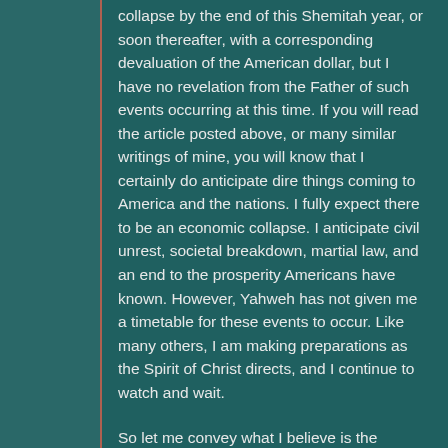collapse by the end of this Shemitah year, or soon thereafter, with a corresponding devaluation of the American dollar, but I have no revelation from the Father of such events occurring at this time. If you will read the article posted above, or many similar writings of mine, you will know that I certainly do anticipate dire things coming to America and the nations. I fully expect there to be an economic collapse. I anticipate civil unrest, societal breakdown, martial law, and an end to the prosperity Americans have known. However, Yahweh has not given me a timetable for these events to occur. Like many others, I am making preparations as the Spirit of Christ directs, and I continue to watch and wait.
So let me convey what I believe is the significance of the approaching dates. In the book Dragon Flood, I mentioned that the world